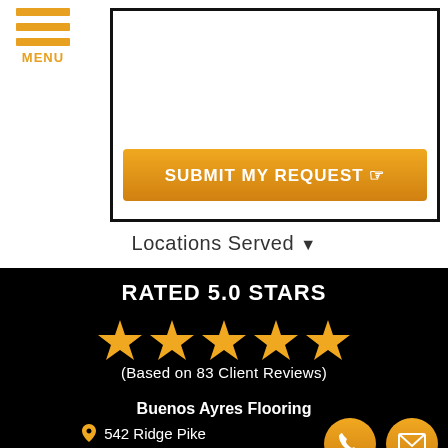[Figure (screenshot): Mobile website menu button with three orange horizontal lines and MENU label]
[Figure (screenshot): Orange SUBMIT MY REQUEST button with hand cursor icon inside a black-bordered form box]
Locations Served ▼
RATED 5.0 STARS
[Figure (infographic): Five gold star rating icons]
(Based on 83 Client Reviews)
Buenos Ayres Flooring
542 Ridge Pike
Lafayette Hill